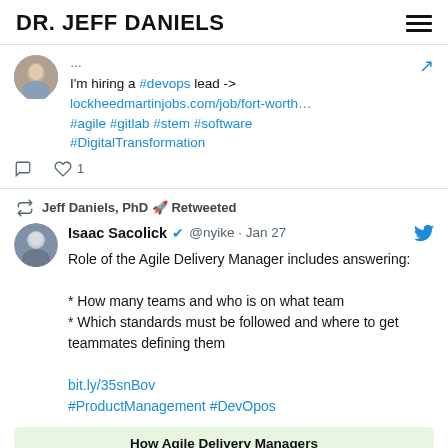DR. JEFF DANIELS
I'm hiring a #devops lead -> lockheedmartinjobs.com/job/fort-worth… #agile #gitlab #stem #software #DigitalTransformation
Jeff Daniels, PhD 🚀 Retweeted
Isaac Sacolick ✔ @nyike · Jan 27
Role of the Agile Delivery Manager includes answering:

* How many teams and who is on what team
* Which standards must be followed and where to get teammates defining them

bit.ly/35snBov
#ProductManagement #DevOpos
[Figure (screenshot): Green banner at bottom reading 'How Agile Delivery Managers']